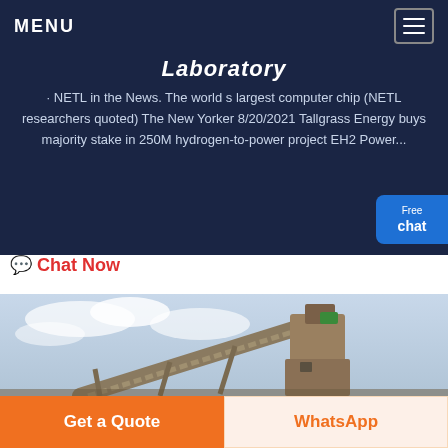MENU
Laboratory
· NETL in the News. The world s largest computer chip (NETL researchers quoted) The New Yorker 8/20/2021 Tallgrass Energy buys majority stake in 250M hydrogen-to-power project EH2 Power...
Free chat
Chat Now
[Figure (photo): Industrial conveyor belt and crusher machinery against a cloudy sky]
Get a Quote
WhatsApp